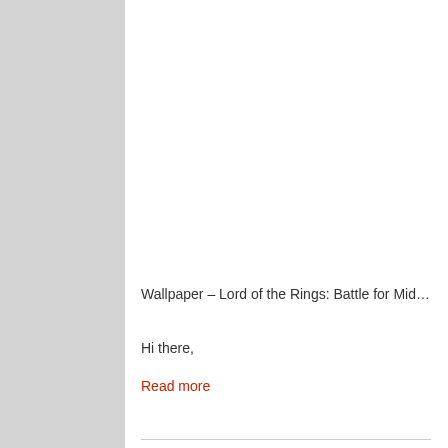[Figure (illustration): Battle scene from Lord of the Rings: Battle for Middle Earth game wallpaper. Shows a massive orc army with helmeted soldiers filling the lower half, with a large dark creature hand/arm visible upper right, and a red-orange sky background suggesting fiery battle conditions. ESRB Teen rating badge and New Line Cinema logo visible at bottom left of image.]
Wallpaper – Lord of the Rings: Battle for Middle Ear...
Hi there,
Read more